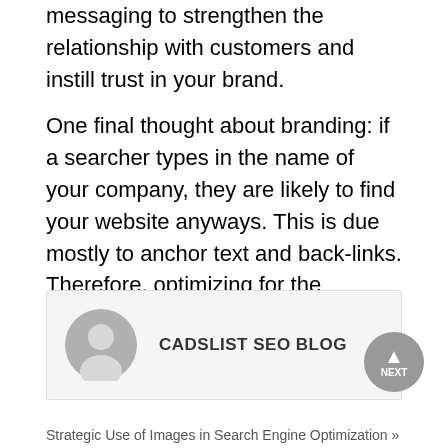messaging to strengthen the relationship with customers and instill trust in your brand.
One final thought about branding: if a searcher types in the name of your company, they are likely to find your website anyways. This is due mostly to anchor text and back-links. Therefore, optimizing for the company name is rather insignificant in most cases.
[Figure (illustration): Author box with avatar icon and name CADSLIST SEO BLOG]
[Figure (other): NEXT button with upward triangle arrow, circular grey button]
Strategic Use of Images in Search Engine Optimization »